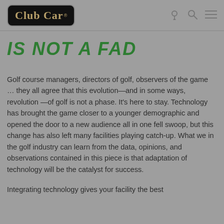Club Car® [location icon] [search icon] [menu icon]
IS NOT A FAD
Golf course managers, directors of golf, observers of the game … they all agree that this evolution—and in some ways, revolution —of golf is not a phase. It's here to stay. Technology has brought the game closer to a younger demographic and opened the door to a new audience all in one fell swoop, but this change has also left many facilities playing catch-up. What we in the golf industry can learn from the data, opinions, and observations contained in this piece is that adaptation of technology will be the catalyst for success.
Integrating technology gives your facility the best